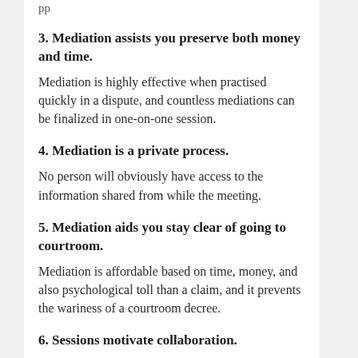3. Mediation assists you preserve both money and time.
Mediation is highly effective when practised quickly in a dispute, and countless mediations can be finalized in one-on-one session.
4. Mediation is a private process.
No person will obviously have access to the information shared from while the meeting.
5. Mediation aids you stay clear of going to courtroom.
Mediation is affordable based on time, money, and also psychological toll than a claim, and it prevents the wariness of a courtroom decree.
6. Sessions motivate collaboration.
Mediation motivates a problem-solving technique - for anyone in a conflict - that most likely to the core